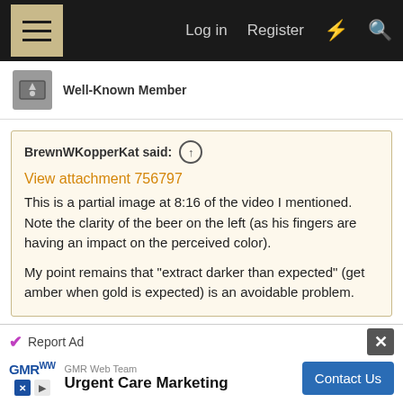Log in  Register
Well-Known Member
BrewnWKopperKat said: ↑
View attachment 756797
This is a partial image at 8:16 of the video I mentioned. Note the clarity of the beer on the left (as his fingers are having an impact on the perceived color).

My point remains that "extract darker than expected" (get amber when gold is expected) is an avoidable problem.
The next time I brew extract I for sure am going to be coming up with my own recipe. I do think that he was on to something that LME helps produce a darker
[Figure (screenshot): Advertisement: GMR Web Team - Urgent Care Marketing with Contact Us button]